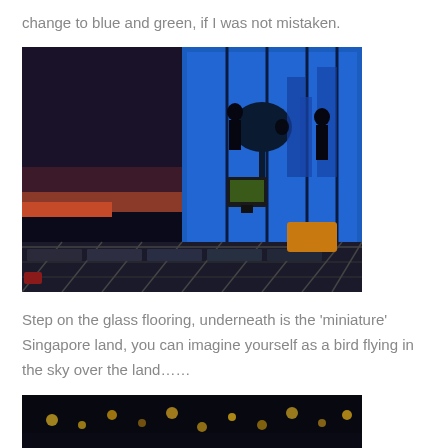change to blue and green, if I was not mistaken.
[Figure (photo): Interior of a museum or exhibition space with blue ambient lighting. Glass flooring panels show a miniature cityscape underneath. Silhouettes of visitors stand in front of illuminated blue display panels. A tree silhouette and city building models are visible. A digital kiosk/display stands in the center.]
Step on the glass flooring, underneath is the ‘miniature’ Singapore land, you can imagine yourself as a bird flying in the sky over the land……
[Figure (photo): Partial view of another exhibition area, dark with golden/warm lighting on exhibits.]